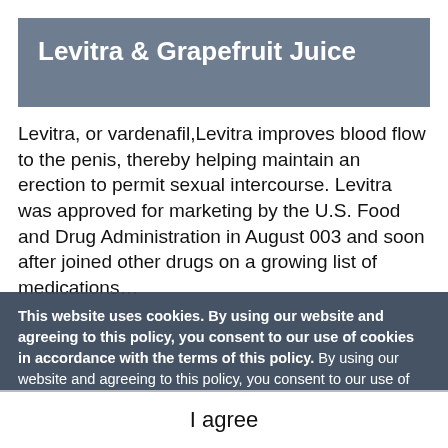Levitra & Grapefruit Juice
Levitra, or vardenafil,Levitra improves blood flow to the penis, thereby helping maintain an erection to permit sexual intercourse. Levitra was approved for marketing by the U.S. Food and Drug Administration in August 003 and soon after joined other drugs on a growing list of medications…
This website uses cookies. By using our website and agreeing to this policy, you consent to our use of cookies in accordance with the terms of this policy. By using our website and agreeing to this policy, you consent to our use of cookies in accordance with the terms of this policy. Cookies Privacy Policy   More Info
I agree